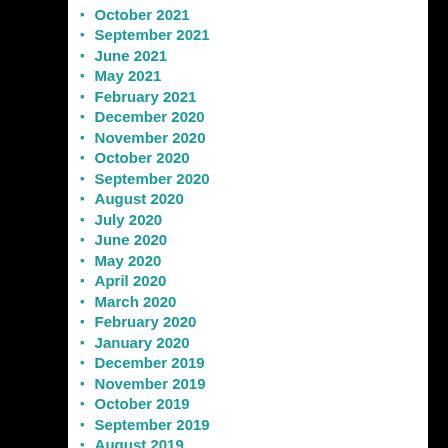October 2021
September 2021
June 2021
May 2021
February 2021
December 2020
November 2020
October 2020
September 2020
August 2020
July 2020
June 2020
May 2020
April 2020
March 2020
February 2020
January 2020
December 2019
November 2019
October 2019
September 2019
August 2019